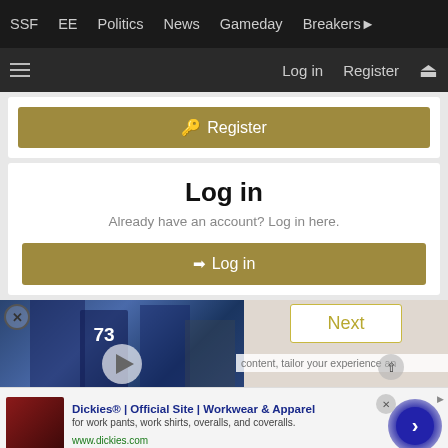SSF  EE  Politics  News  Gameday  Breakers
Log in  Register
🔑 Register
Log in
Already have an account? Log in here.
→ Log in
[Figure (photo): Football players in blue Buffalo Bills uniforms, player number 73 visible, running on field with crowd in background. Play button overlay visible.]
Next
content, tailor your experience an
[Figure (advertisement): Dickies advertisement with red seat/leather thumbnail image, text: Dickies® | Official Site | Workwear & Apparel, for work pants, work shirts, overalls, and coveralls. www.dickies.com]